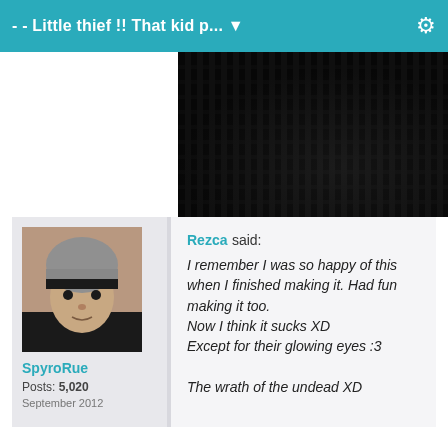- - Little thief !! That kid p... ▼
[Figure (photo): Dark image showing metallic grid or grate structure with low lighting]
[Figure (photo): Forum user avatar showing a person wearing a grey beanie hat]
SpyroRue
Posts: 5,020
September 2012
Rezca said:
I remember I was so happy of this when I finished making it. Had fun making it too.
Now I think it sucks XD
Except for their glowing eyes :3

The wrath of the undead XD